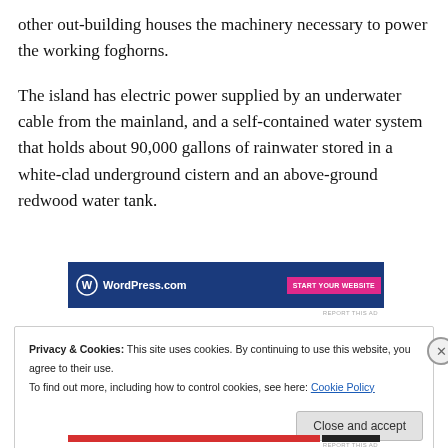other out-building houses the machinery necessary to power the working foghorns.
The island has electric power supplied by an underwater cable from the mainland, and a self-contained water system that holds about 90,000 gallons of rainwater stored in a white-clad underground cistern and an above-ground redwood water tank.
[Figure (screenshot): WordPress.com advertisement banner with logo and pink 'Start Your Website' button on dark blue background]
Privacy & Cookies: This site uses cookies. By continuing to use this website, you agree to their use.
To find out more, including how to control cookies, see here: Cookie Policy
Close and accept